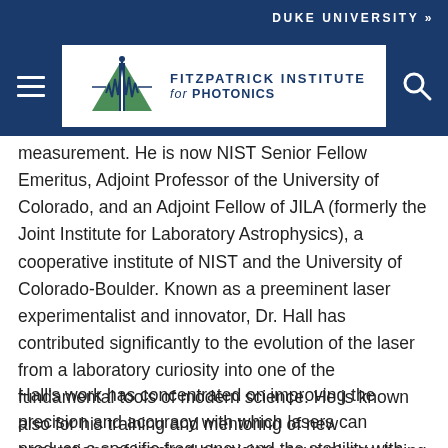DUKE UNIVERSITY »
[Figure (logo): Fitzpatrick Institute for Photonics logo with navigation bar including hamburger menu and search icon]
measurement. He is now NIST Senior Fellow Emeritus, Adjoint Professor of the University of Colorado, and an Adjoint Fellow of JILA (formerly the Joint Institute for Laboratory Astrophysics), a cooperative institute of NIST and the University of Colorado-Boulder. Known as a preeminent laser experimentalist and innovator, Dr. Hall has contributed significantly to the evolution of the laser from a laboratory curiosity into one of the fundamental tools of modern science. He is known also for his training and mentoring of new generations of inspired physicists, several now being star researchers themselves.
Hall's work has concentrated on improving the precision and accuracy with which lasers can produce a specific frequency and the stability with which they